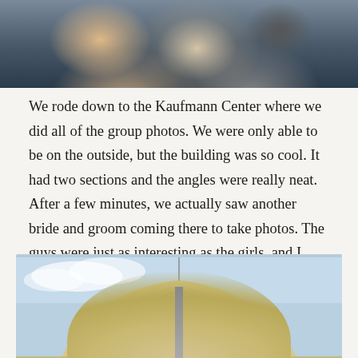[Figure (photo): Top portion of a photograph showing people smiling, partially cropped, with dark background clothing and outdoor setting.]
We rode down to the Kaufmann Center where we did all of the group photos. We were only able to be on the outside, but the building was so cool. It had two sections and the angles were really neat. After a few minutes, we actually saw another bride and groom coming there to take photos. The guys were just as interesting as the girls, and I loved getting to be around them. At one point, one of the groomsmen got down like a center and Joseph got underneath to take a snap. So funny!
[Figure (photo): Bottom portion showing the distinctive curved roof structure of the Kauffman Center for the Performing Arts against a blue sky, with beige/cream shell-like curved panels.]